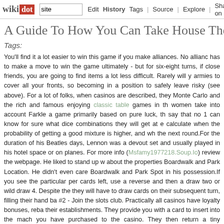wikidot | site | Edit | History | Tags | Source | Explore | Share on [Twitter]
A Guide To How You Can Take House The Jackp
Tags:
You'll find it a lot easier to win this game if you make alliances. No alliance has to make a move to win the game ultimately - but for six-eight turns, if close friends, you are going to find items a lot less difficult. Rarely will you armies to cover all your fronts, so becoming in a position to safely leave risky (see above). For a lot of folks, when casinos are described, they Monte Carlo and the rich and famous enjoying classic table games in th women take into account Farkle a game primarily based on pure luck, th say that no 1 can know for sure what dice combinations they will get at e calculate when the probability of getting a good mixture is higher, and wh the next round.For the duration of his Beatles days, Lennon was a devout set and usually played in his hotel space or on planes. For more info (Msfamy1977218.Soup.Io) review the webpage. He liked to stand up w about the properties Boardwalk and Park Location. He didn't even care Boardwalk and Park Spot in his possession.If you see the particular per cards left, use a reverse and then a draw two or wild draw 4. Despite the they will have to draw cards on their subsequent turn, filling their hand ba #2 - Join the slots club. Practically all casinos have loyalty bonuses, reba their establishments. They provide you with a card to insert into the mach you have purchased to the casino. They then return a tiny percentage (or of rebates, food, travel positive aspects, and entertainment.Consider (Specifically given that it is been noted that the sound of a Blokus bo terrifying, shattering noise that leaves parents with curdled blood.) The tr to realize, Blokus can be maddeningly strategic. Not only are you attemp but you are also on an offensive attack to save space for your squares.